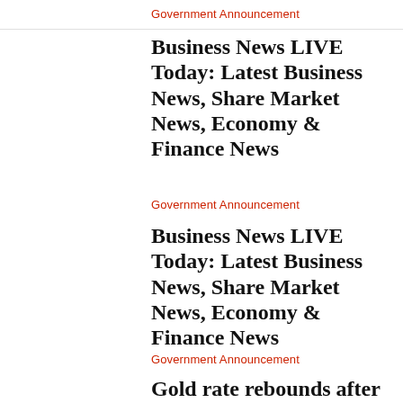Government Announcement
Business News LIVE Today: Latest Business News, Share Market News, Economy & Finance News
Government Announcement
Business News LIVE Today: Latest Business News, Share Market News, Economy & Finance News
Government Announcement
Gold rate rebounds after weak US GDP data. Right time to buy now?